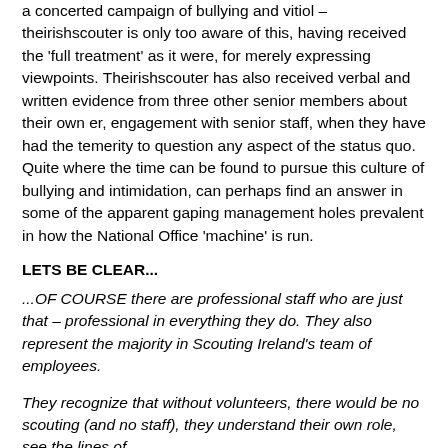a concerted campaign of bullying and vitiol – theirishscouter is only too aware of this, having received the 'full treatment' as it were, for merely expressing viewpoints. Theirishscouter has also received verbal and written evidence from three other senior members about their own er, engagement with senior staff, when they have had the temerity to question any aspect of the status quo. Quite where the time can be found to pursue this culture of bullying and intimidation, can perhaps find an answer in some of the apparent gaping management holes prevalent in how the National Office 'machine' is run.
LETS BE CLEAR...
...OF COURSE there are professional staff who are just that – professional in everything they do. They also represent the majority in Scouting Ireland's team of employees.
They recognize that without volunteers, there would be no scouting (and no staff), they understand their own role, see the lines of